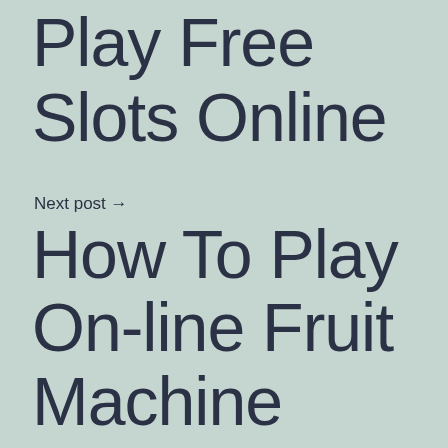Play Free Slots Online
Next post →
How To Play On-line Fruit Machine